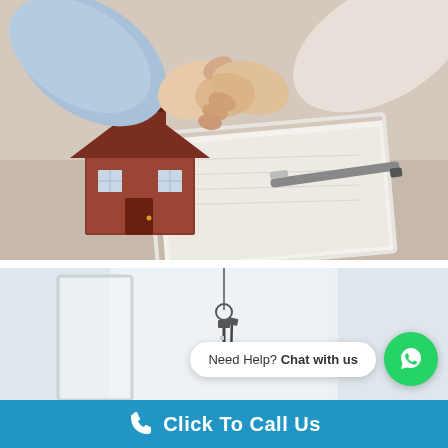[Figure (photo): Two people shaking hands over a desk with a small model house and a pen on paper documents, representing a real estate or insurance agreement meeting.]
[Figure (photo): Bright interior hallway or room with dangling house keys, representing a property handover or real estate context.]
Need Help? Chat with us
Click To Call Us